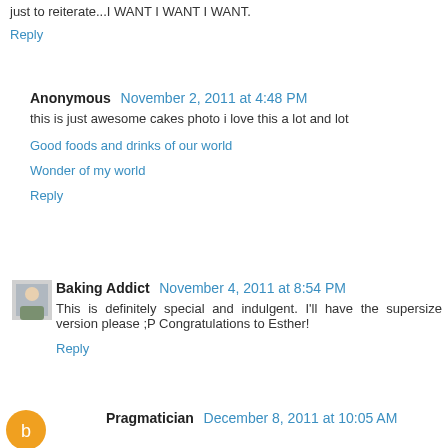just to reiterate...I WANT I WANT I WANT.
Reply
Anonymous  November 2, 2011 at 4:48 PM
this is just awesome cakes photo i love this a lot and lot
Good foods and drinks of our world
Wonder of my world
Reply
Baking Addict  November 4, 2011 at 8:54 PM
This is definitely special and indulgent. I'll have the supersize version please ;P Congratulations to Esther!
Reply
Pragmatician  December 8, 2011 at 10:05 AM